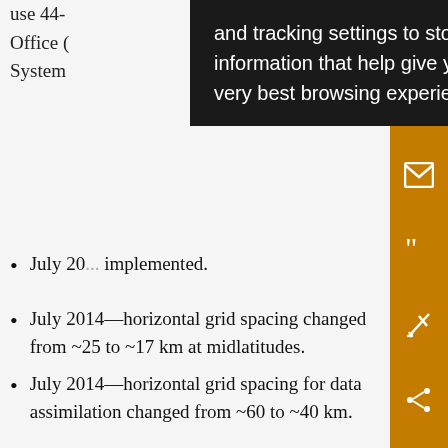use 44- Office ( System
and tracking settings to store information that help give you the very best browsing experience.
July 20[...] implemented.
July 2014—horizontal grid spacing changed from ~25 to ~17 km at midlatitudes.
July 2014—horizontal grid spacing for data assimilation changed from ~60 to ~40 km.
July 2014—increased entrainment rate in deep convection.
July 2014—reduced turbulent mixing and revised stability functions in the boundary layer.